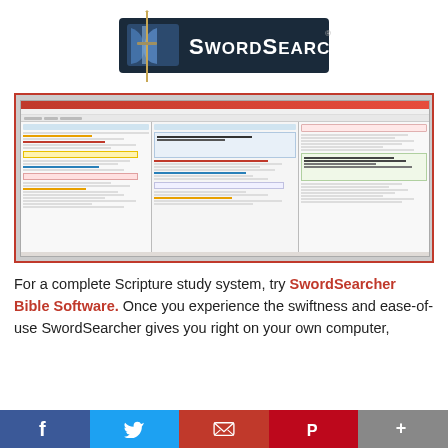[Figure (logo): SwordSearcher logo with sword and open book icon on dark background with text SWORDSEARCHER]
[Figure (screenshot): Screenshot of SwordSearcher Bible Software application showing multiple panels with Bible text, study tools, and commentary]
For a complete Scripture study system, try SwordSearcher Bible Software. Once you experience the swiftness and ease-of-use SwordSearcher gives you right on your own computer,
[Figure (infographic): Social media sharing bar with Facebook, Twitter, Email, Pinterest, and More buttons]